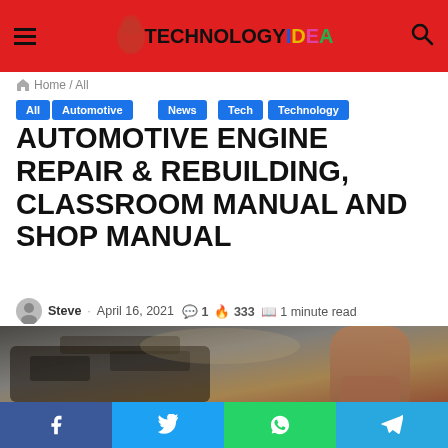TechnologyIdea
Home / All
All
Automotive
News
Tech
Technology
AUTOMOTIVE ENGINE REPAIR & REBUILDING, CLASSROOM MANUAL AND SHOP MANUAL
Steve · April 16, 2021 💬 1 🔥 333 📚 1 minute read
[Figure (photo): Photo of a mechanic working on a car engine, blurred background with warm tones]
Facebook | Twitter | WhatsApp | Telegram social share buttons